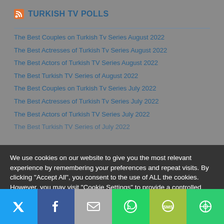TURKISH TV POLLS
The Best Couples on Turkish Tv Series August 2022
The Best Actresses of Turkish Tv Series August 2022
The Best Actors of Turkish TV Series August 2022
The Best Turkish TV Series of August 2022
The Best Couples on Turkish Tv Series July 2022
The Best Actresses of Turkish Tv Series July 2022
The Best Actors of Turkish TV Series July 2022
The Best Turkish TV Series of July 2022
We use cookies on our website to give you the most relevant experience by remembering your preferences and repeat visits. By clicking "Accept All", you consent to the use of ALL the cookies. However, you may visit "Cookie Settings" to provide a controlled consent.
[Figure (infographic): Social sharing bar with icons for Twitter, Facebook, Email, WhatsApp, SMS, and More]